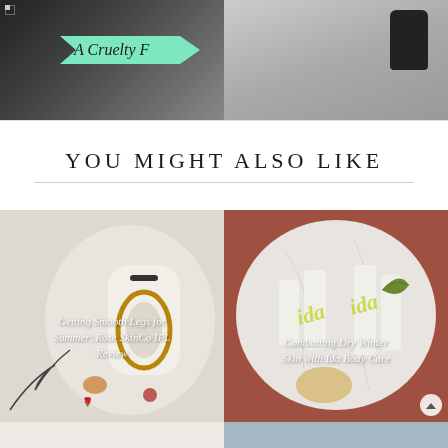[Figure (photo): Top-left image: dark background with skincare product and green arrow banner reading 'A Cruelty F...']
[Figure (photo): Top-right image: grey fabric background with dark bottle]
YOU MIGHT ALSO LIKE
[Figure (photo): Image of RoseSkinCo IPL hair removal device on white towel with text overlay: Getting Smooth Legs for Summer| Rose SkinCo IPL Review with RoseSkinCo logo]
[Figure (photo): Image of Ida Body Care white bottles on marble surface with text overlay: Combatting Dry Winter Skin with Ida Body Care]
[Figure (photo): Bottom-left partial image, light grey/beige background]
[Figure (photo): Bottom-right partial image, blue-grey tones]